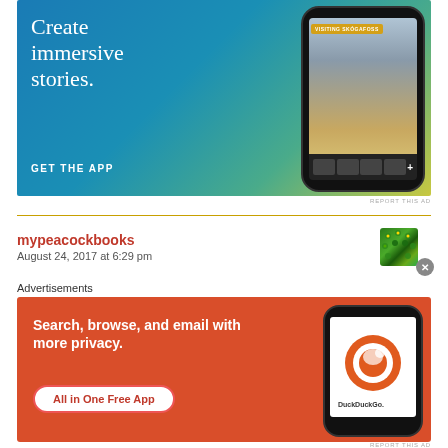[Figure (illustration): App advertisement banner with blue gradient background. Text reads 'Create immersive stories.' with 'GET THE APP' call to action. Right side shows a smartphone mockup with 'VISITING SKÓGAFOSS' label and a person near a waterfall.]
REPORT THIS AD
mypeacockbooks
August 24, 2017 at 6:29 pm
[Figure (illustration): Green peacock avatar image with close (X) button overlay]
Advertisements
[Figure (illustration): DuckDuckGo advertisement on orange/red background. Text: 'Search, browse, and email with more privacy.' with 'All in One Free App' button. Right side shows smartphone with DuckDuckGo logo.]
REPORT THIS AD